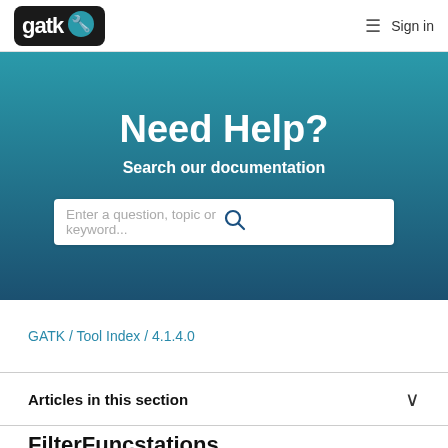gatk  ☰ Sign in
Need Help?
Search our documentation
Enter a question, topic or keyword...
GATK / Tool Index / 4.1.4.0
Articles in this section
FilterFuncstations